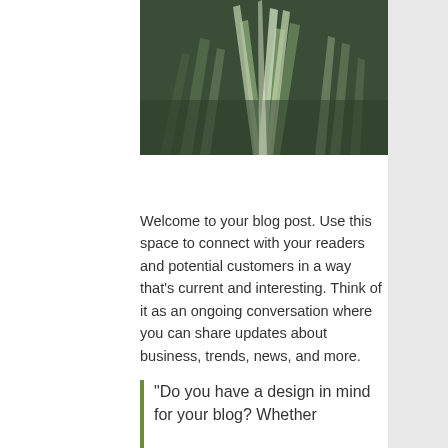[Figure (photo): Close-up photo of green grass blades or plant leaves with a dark green background, partially visible at the top of the page.]
Welcome to your blog post. Use this space to connect with your readers and potential customers in a way that's current and interesting. Think of it as an ongoing conversation where you can share updates about business, trends, news, and more.
“Do you have a design in mind for your blog? Whether